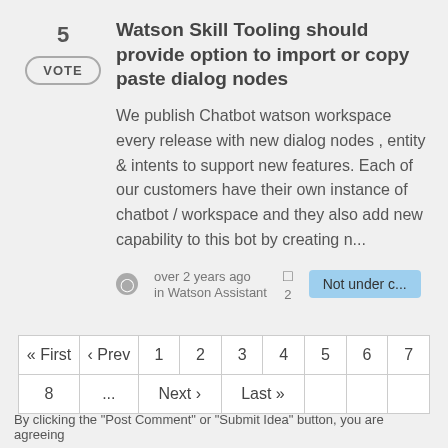Watson Skill Tooling should provide option to import or copy paste dialog nodes
We publish Chatbot watson workspace every release with new dialog nodes , entity & intents to support new features. Each of our customers have their own instance of chatbot / workspace and they also add new capability to this bot by creating n...
over 2 years ago in Watson Assistant  2  Not under c...
| « First | ‹ Prev | 1 | 2 | 3 | 4 | 5 | 6 | 7 |
| --- | --- | --- | --- | --- | --- | --- | --- | --- |
| 8 | ... | Next › | Last » |  |  |  |  |  |
By clicking the "Post Comment" or "Submit Idea" button, you are agreeing